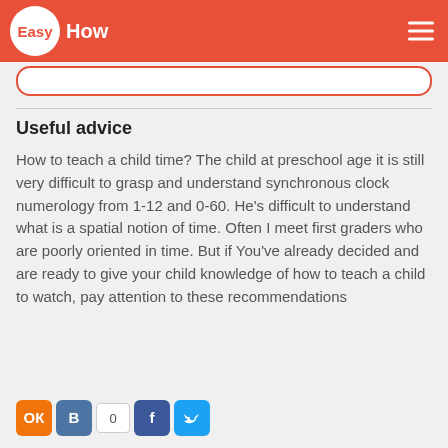EasyHow
Useful advice
How to teach a child time? The child at preschool age it is still very difficult to grasp and understand synchronous clock numerology from 1-12 and 0-60. He's difficult to understand what is a spatial notion of time. Often I meet first graders who are poorly oriented in time. But if You've already decided and are ready to give your child knowledge of how to teach a child to watch, pay attention to these recommendations
[Figure (other): Social sharing buttons: Odnoklassniki (orange), VKontakte (blue), share count 0, Facebook (dark blue), Twitter (light blue)]